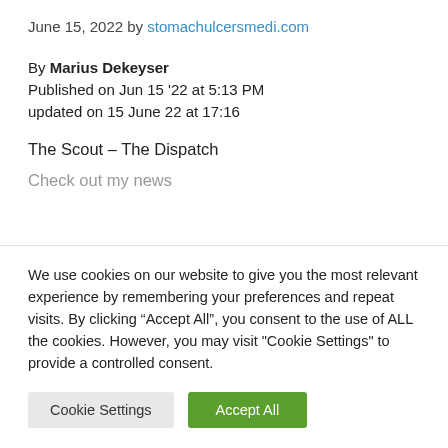June 15, 2022 by stomachulcersmedi.com
By Marius Dekeyser
Published on Jun 15 '22 at 5:13 PM
updated on 15 June 22 at 17:16
The Scout – The Dispatch
Check out my news
We use cookies on our website to give you the most relevant experience by remembering your preferences and repeat visits. By clicking “Accept All”, you consent to the use of ALL the cookies. However, you may visit "Cookie Settings" to provide a controlled consent.